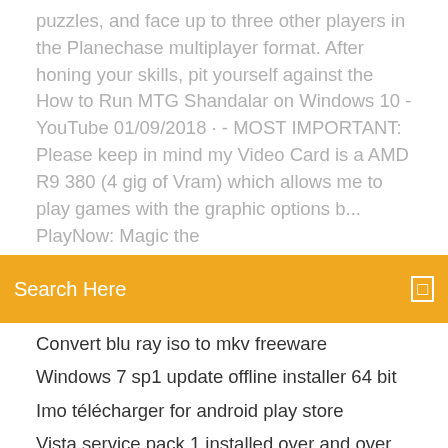puzzles, and face up to three other players in the Planechase multiplayer format. After honing your skills, pit yourself against the How to Run MTG Shandalar on Windows 10 - YouTube 01/09/2018 · - MOST IMPORTANT: Please keep in mind my Video Card is a AMD R9 380 (4 gig of Vram) which allows me to play games with the graphic options b... PlayNow: Magic the
Search Here
Convert blu ray iso to mkv freeware
Windows 7 sp1 update offline installer 64 bit
Imo télécharger for android play store
Vista service pack 1 installed over and over
Nero burning gratuit windows 10
Colin mcrae rally 2005 pc télécharger
Youtube hd mp4 téléchargerer mac
Télécharger gratuit driver pack solution 2020
Logiciel de transfert de fichier gratuit android
Code de triche gta san andreas ps2 bateau